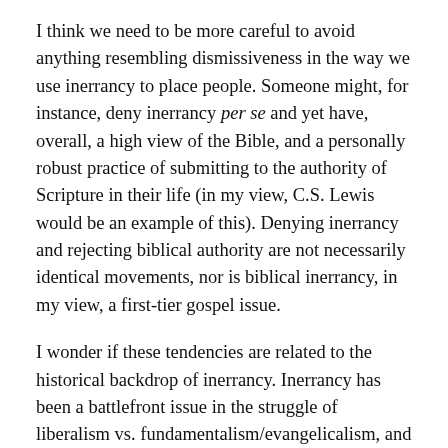I think we need to be more careful to avoid anything resembling dismissiveness in the way we use inerrancy to place people. Someone might, for instance, deny inerrancy per se and yet have, overall, a high view of the Bible, and a personally robust practice of submitting to the authority of Scripture in their life (in my view, C.S. Lewis would be an example of this). Denying inerrancy and rejecting biblical authority are not necessarily identical movements, nor is biblical inerrancy, in my view, a first-tier gospel issue.
I wonder if these tendencies are related to the historical backdrop of inerrancy. Inerrancy has been a battlefront issue in the struggle of liberalism vs. fundamentalism/evangelicalism, and so it makes sense that it would take on connotations related to this battle. But precisely because it has been such a battlefront issue, we must be all the more sensitive to the temptation to treat it in an all-or-nothing, black and white, "you're...